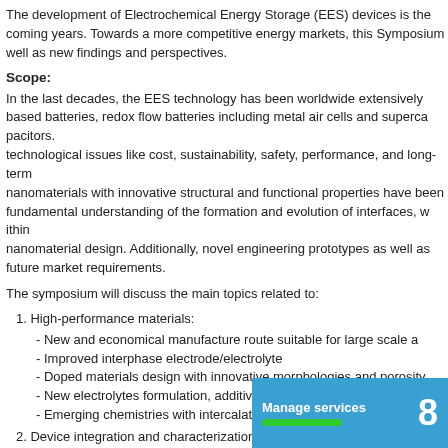The development of Electrochemical Energy Storage (EES) devices is the coming years. Towards a more competitive energy markets, this Symposium as well as new findings and perspectives.
Scope:
In the last decades, the EES technology has been worldwide extensively based batteries, redox flow batteries including metal air cells and supercapacitors. technological issues like cost, sustainability, safety, performance, and long-term nanomaterials with innovative structural and functional properties have been fundamental understanding of the formation and evolution of interfaces, within nanomaterial design. Additionally, novel engineering prototypes as well as future market requirements.
The symposium will discuss the main topics related to:
1. High-performance materials:
- New and economical manufacture route suitable for large scale a
- Improved interphase electrode/electrolyte
- Doped materials design with innovative morphologies and porosity
- New electrolytes formulation, additives, solid state electrolytes, w
- Emerging chemistries with intercalation electrodes
2. Device integration and characterization:
- Novel cell and multi cell configuration
- Performance optimization: operational parameters